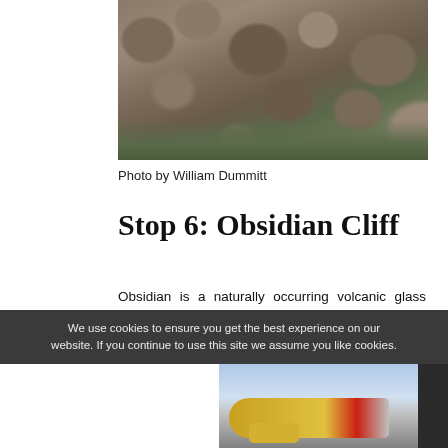[Figure (photo): Rocky cliff face with boulders and sparse vegetation, photograph of Obsidian Cliff area]
Photo by William Dummitt
Stop 6: Obsidian Cliff
Obsidian is a naturally occurring volcanic glass formed when felsic lava extruded from a volcano cools rapidly with minimal crystal growth.
We use cookies to ensure you get the best experience on our website. If you continue to use this site we assume you like cookies.
According to the National Parks website
[Figure (photo): Cargo airplane being loaded at airport]